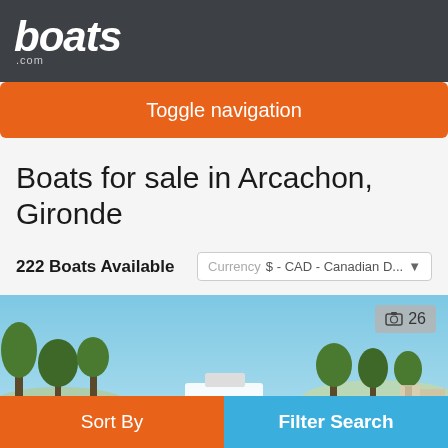boats.com
Toggle navigation
Boats for sale in Arcachon, Gironde
222 Boats Available   Currency $ - CAD - Canadian D...
[Figure (photo): Scenic waterfront photo showing boats, trees and buildings under a blue sky with photo count badge showing 26]
Sort By   Filter Search